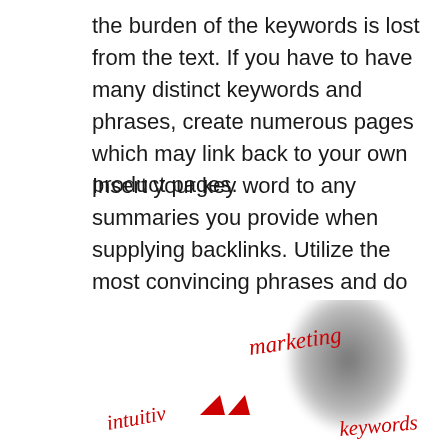the burden of the keywords is lost from the text. If you have to have many distinct keywords and phrases, create numerous pages which may link back to your own product pages.
Insert your key word to any summaries you provide when supplying backlinks. Utilize the most convincing phrases and do not forget that a call to action in these summaries, but it is vital to include your key word. Not only for the reader, but to get the search engines, that are always looking for clues regarding pertinent content.
[Figure (photo): A blurred photo of a person's face with red handwritten words 'marketing', 'intuitiv', 'keywords' and arrows overlaid on the image]